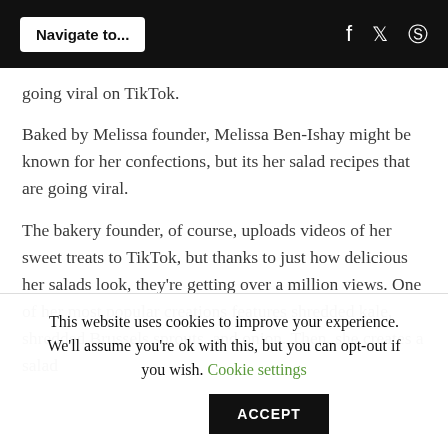Navigate to... [social icons: f, twitter, pinterest]
going viral on TikTok.
Baked by Melissa founder, Melissa Ben-Ishay might be known for her confections, but its her salad recipes that are going viral.
The bakery founder, of course, uploads videos of her sweet treats to TikTok, but thanks to just how delicious her salads look, they're getting over a million views. One of her most popular creations features shredded kale, shredded Brussels sprouts, and onion. Then, she creates a salad
This website uses cookies to improve your experience. We'll assume you're ok with this, but you can opt-out if you wish. Cookie settings ACCEPT